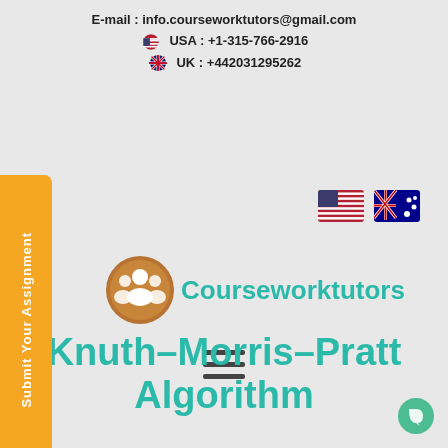E-mail : info.courseworktutors@gmail.com
USA : +1-315-766-2916
UK : +442031295262
[Figure (logo): Courseworktutors logo with brown circular icon showing group of people and teal brand name text]
[Figure (other): Hamburger menu icon (three horizontal lines)]
Knuth–Morris–Pratt Algorithm